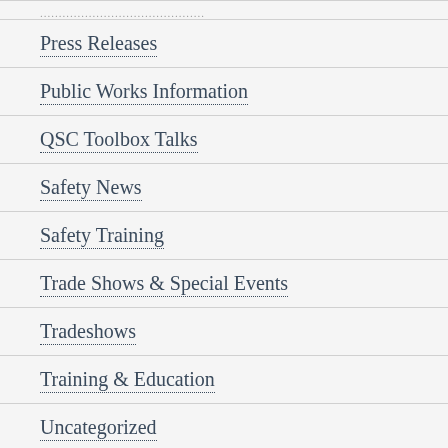Press Releases
Public Works Information
QSC Toolbox Talks
Safety News
Safety Training
Trade Shows & Special Events
Tradeshows
Training & Education
Uncategorized